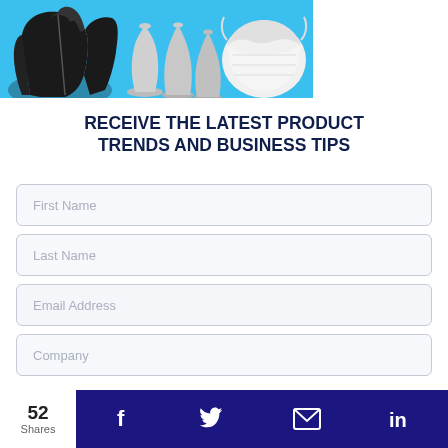[Figure (illustration): Banner image with light blue background showing a black leather jacket on left, silver/white vases in center, and a white N95 face mask on right.]
RECEIVE THE LATEST PRODUCT TRENDS AND BUSINESS TIPS
First Name
Last Name
Email Address
Company
52 Shares
[Figure (infographic): Dark navy/purple share bar with Facebook, Twitter, email, and LinkedIn icons in white.]